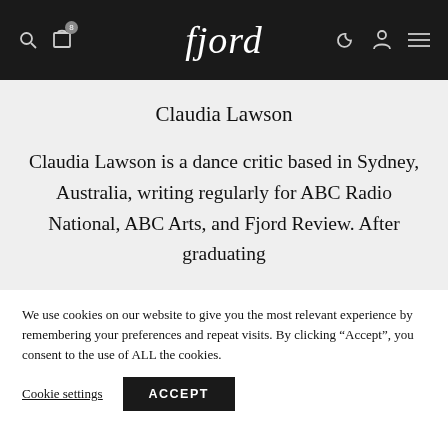fjord
Claudia Lawson
Claudia Lawson is a dance critic based in Sydney, Australia, writing regularly for ABC Radio National, ABC Arts, and Fjord Review. After graduating
We use cookies on our website to give you the most relevant experience by remembering your preferences and repeat visits. By clicking “Accept”, you consent to the use of ALL the cookies.